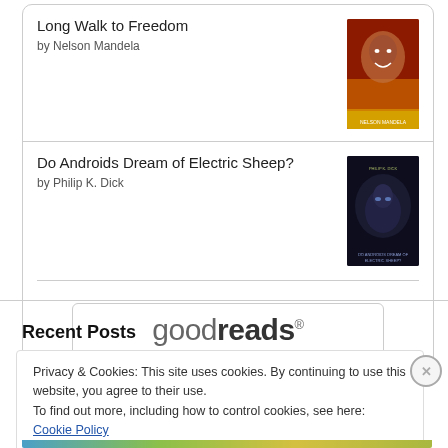Long Walk to Freedom by Nelson Mandela
Do Androids Dream of Electric Sheep? by Philip K. Dick
[Figure (logo): goodreads logo button with rounded rectangle border]
Recent Posts
Privacy & Cookies: This site uses cookies. By continuing to use this website, you agree to their use.
To find out more, including how to control cookies, see here: Cookie Policy
Close and accept